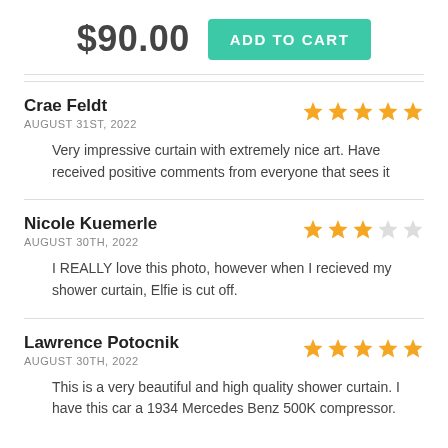$90.00  ADD TO CART
Crae Feldt
AUGUST 31ST, 2022
Very impressive curtain with extremely nice art. Have received positive comments from everyone that sees it
Nicole Kuemerle
AUGUST 30TH, 2022
I REALLY love this photo, however when I recieved my shower curtain, Elfie is cut off.
Lawrence Potocnik
AUGUST 30TH, 2022
This is a very beautiful and high quality shower curtain. I have this car a 1934 Mercedes Benz 500K compressor.